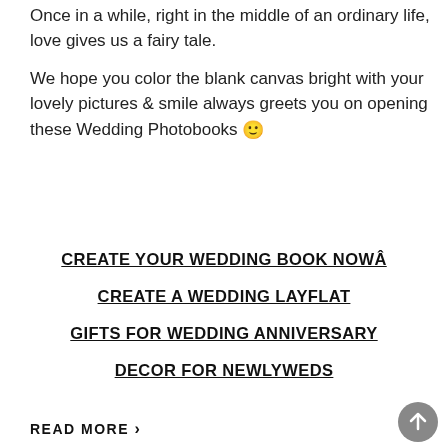Once in a while, right in the middle of an ordinary life, love gives us a fairy tale.

We hope you color the blank canvas bright with your lovely pictures & smile always greets you on opening these Wedding Photobooks 🙂
CREATE YOUR WEDDING BOOK NOWÂ
CREATE A WEDDING LAYFLAT
GIFTS FOR WEDDING ANNIVERSARY
DECOR FOR NEWLYWEDS
READ MORE ›